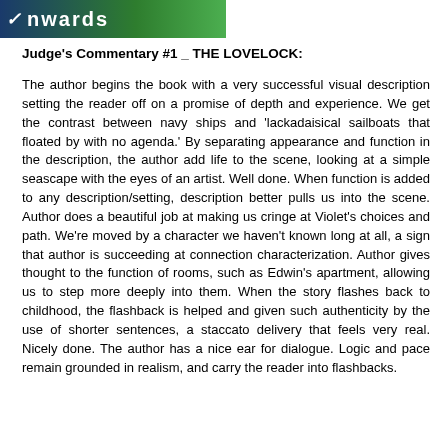[Figure (logo): Awards logo with checkmark icon and 'Awards' text on a dark blue and green gradient background]
Judge's Commentary #1 _ THE LOVELOCK:
The author begins the book with a very successful visual description setting the reader off on a promise of depth and experience. We get the contrast between navy ships and 'lackadaisical sailboats that floated by with no agenda.' By separating appearance and function in the description, the author add life to the scene, looking at a simple seascape with the eyes of an artist. Well done. When function is added to any description/setting, description better pulls us into the scene. Author does a beautiful job at making us cringe at Violet's choices and path. We're moved by a character we haven't known long at all, a sign that author is succeeding at connection characterization. Author gives thought to the function of rooms, such as Edwin's apartment, allowing us to step more deeply into them. When the story flashes back to childhood, the flashback is helped and given such authenticity by the use of shorter sentences, a staccato delivery that feels very real. Nicely done. The author has a nice ear for dialogue. Logic and pace remain grounded in realism, and carry the reader into flashbacks.